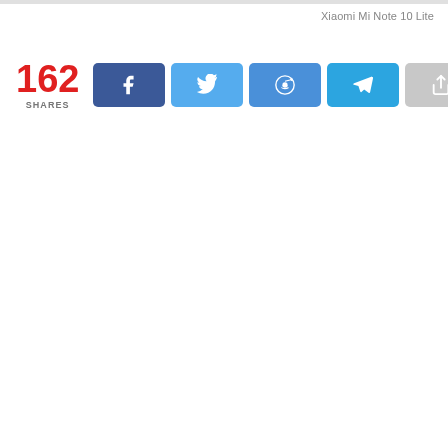Xiaomi Mi Note 10 Lite
162 SHARES
[Figure (infographic): Social share bar with Facebook, Twitter, Reddit, Telegram, and generic share buttons showing 162 shares]